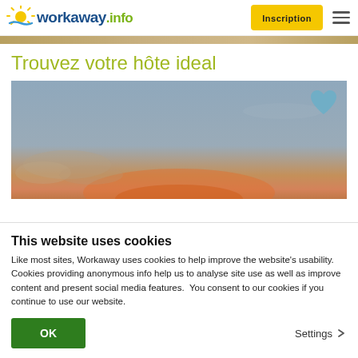workaway.info — Inscription
[Figure (photo): Thin landscape photo strip showing sandy/earthy tones]
Trouvez votre hôte ideal
[Figure (photo): Sunset landscape photo with gradient sky from blue-grey to warm orange at the horizon with scattered clouds, with a blue heart icon overlay in the top-right corner]
This website uses cookies
Like most sites, Workaway uses cookies to help improve the website's usability. Cookies providing anonymous info help us to analyse site use as well as improve content and present social media features.  You consent to our cookies if you continue to use our website.
OK
Settings